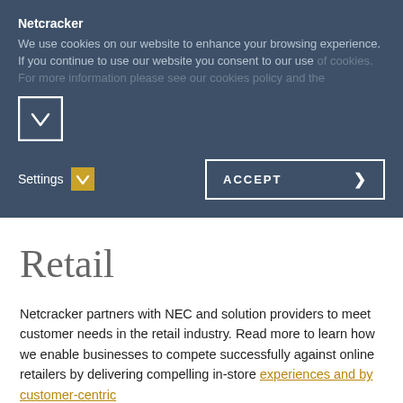Netcracker
We use cookies on our website to enhance your browsing experience.  If you continue to use our website you consent to our use of cookies. For more information please see our cookies policy and the
[Figure (screenshot): Chevron down button in a white square border]
Settings
[Figure (screenshot): Yellow checkbox with checkmark icon for Settings]
ACCEPT
Retail
Netcracker partners with NEC and solution providers to meet customer needs in the retail industry. Read more to learn how we enable businesses to compete successfully against online retailers by delivering compelling in-store experiences and by customer-centric